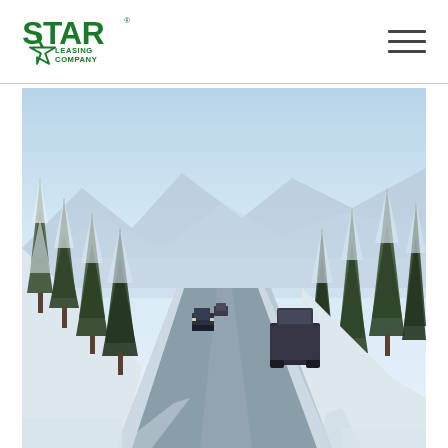Star Leasing Company logo and navigation menu
[Figure (logo): Star Leasing Company logo: green bold text STAR with a green star outline below, and LEASING COMPANY text]
[Figure (photo): Winter highway scene with semi-trucks driving on a snow-covered road flanked by snow-laden evergreen trees, mountains visible in the background under a hazy blue-white sky]